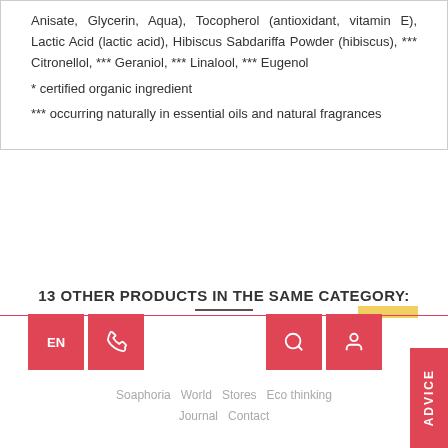Anisate, Glycerin, Aqua), Tocopherol (antioxidant, vitamin E), Lactic Acid (lactic acid), Hibiscus Sabdariffa Powder (hibiscus), *** Citronellol, *** Geraniol, *** Linalool, *** Eugenol
* certified organic ingredient
*** occurring naturally in essential oils and natural fragrances
13 OTHER PRODUCTS IN THE SAME CATEGORY:
Soaphoria World Stores Eco thinking Journal Contact